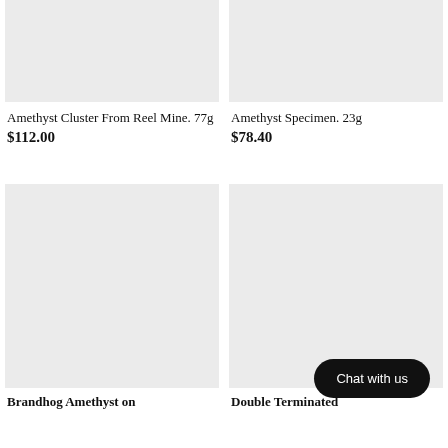[Figure (photo): Product image placeholder for Amethyst Cluster From Reel Mine, light grey background]
Amethyst Cluster From Reel Mine. 77g
$112.00
[Figure (photo): Product image placeholder for Amethyst Specimen, light grey background]
Amethyst Specimen. 23g
$78.40
[Figure (photo): Product image placeholder for Brandhog Amethyst, light grey background]
Brandhog Amethyst on
[Figure (photo): Product image placeholder for Double Terminated product, light grey background with Chat with us button overlay]
Double Terminated